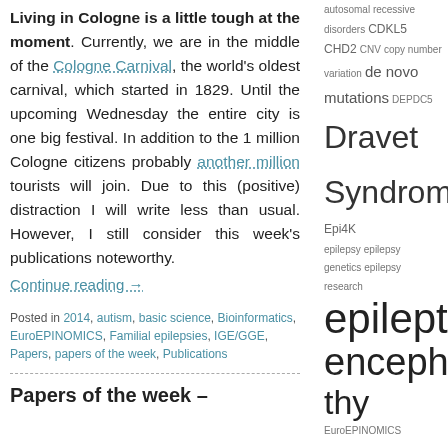Living in Cologne is a little tough at the moment. Currently, we are in the middle of the Cologne Carnival, the world's oldest carnival, which started in 1829. Until the upcoming Wednesday the entire city is one big festival. In addition to the 1 million Cologne citizens probably another million tourists will join. Due to this (positive) distraction I will write less than usual. However, I still consider this week's publications noteworthy.
Continue reading →
Posted in 2014, autism, basic science, Bioinformatics, EuroEPINOMICS, Familial epilepsies, IGE/GGE, Papers, papers of the week, Publications
autosomal recessive disorders CDKL5 CHD2 CNV copy number variation de novo mutations DEPDC5 Dravet Syndrome Epi4K epilepsy epilepsy genetics epilepsy research epileptic encephalopathy EuroEPINOMICS exome exome sequencing
Papers of the week –